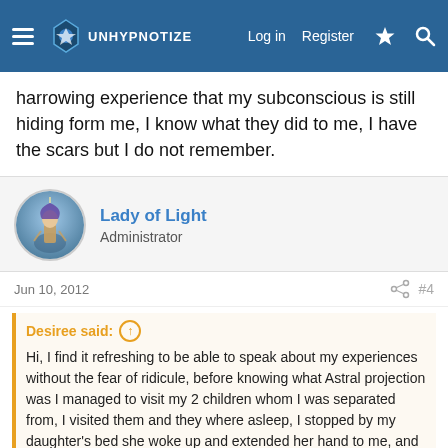Unhypnotize — Log in | Register
harrowing experience that my subconscious is still hiding form me, I know what they did to me, I have the scars but I do not remember.
Lady of Light
Administrator
Jun 10, 2012  #4
Desiree said: ⊕
Hi, I find it refreshing to be able to speak about my experiences without the fear of ridicule, before knowing what Astral projection was I managed to visit my 2 children whom I was separated from, I visited them and they where asleep, I stopped by my daughter's bed she woke up and extended her hand to me, and that was that, much later on I described the room where she was asleep and she told me that she also saw me in her dream and extended her hand to me but I disappeared, now I know it was Astral projection or travel...
Click to expand...